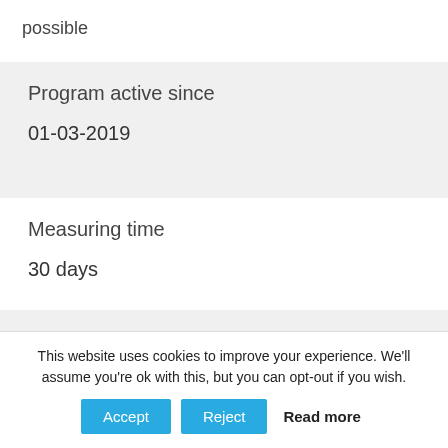possible
Program active since
01-03-2019
Measuring time
30 days
Active in
This website uses cookies to improve your experience. We'll assume you're ok with this, but you can opt-out if you wish.
Accept   Reject   Read more